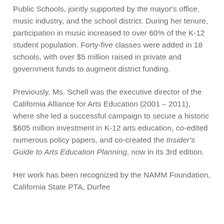Public Schools, jointly supported by the mayor's office, music industry, and the school district. During her tenure, participation in music increased to over 60% of the K-12 student population. Forty-five classes were added in 18 schools, with over $5 million raised in private and government funds to augment district funding.
Previously, Ms. Schell was the executive director of the California Alliance for Arts Education (2001 – 2011), where she led a successful campaign to secure a historic $605 million investment in K-12 arts education, co-edited numerous policy papers, and co-created the Insider's Guide to Arts Education Planning, now in its 3rd edition.
Her work has been recognized by the NAMM Foundation, California State PTA, Durfee